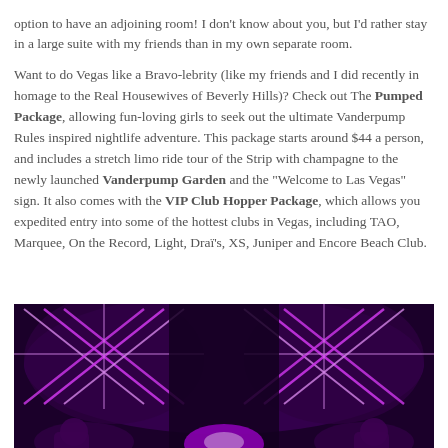option to have an adjoining room! I don't know about you, but I'd rather stay in a large suite with my friends than in my own separate room.
Want to do Vegas like a Bravo-lebrity (like my friends and I did recently in homage to the Real Housewives of Beverly Hills)? Check out The Pumped Package, allowing fun-loving girls to seek out the ultimate Vanderpump Rules inspired nightlife adventure. This package starts around $44 a person, and includes a stretch limo ride tour of the Strip with champagne to the newly launched Vanderpump Garden and the "Welcome to Las Vegas" sign. It also comes with the VIP Club Hopper Package, which allows you expedited entry into some of the hottest clubs in Vegas, including TAO, Marquee, On the Record, Light, Draï's, XS, Juniper and Encore Beach Club.
[Figure (photo): Interior of a stretch limousine lit with purple/pink neon lighting showing criss-cross light patterns on the ceiling and walls, with people visible at the bottom of the frame.]